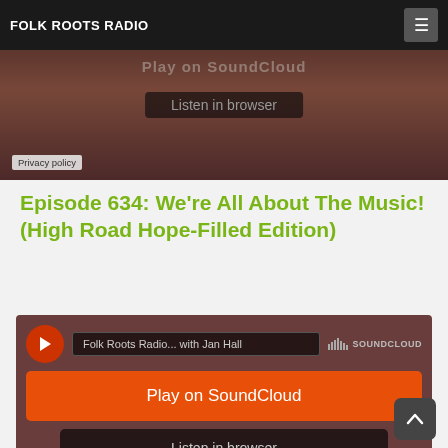FOLK ROOTS RADIO
[Figure (screenshot): SoundCloud embedded player widget at top of page showing dark brownish-red background with 'Play on SoundCloud' orange button and 'Listen in browser' dark button, partially visible behind header]
Episode 634: We're All About The Music! (High Road Hope-Filled Edition)
[Figure (screenshot): SoundCloud embedded player widget with dark brownish-red background. Shows 'Folk Roots Radio... with Jan Hall' track info, SoundCloud logo, orange 'Play on SoundCloud' button, and dark 'Listen in browser' button. Privacy policy link at bottom left.]
Episode 633: We're All About The Mus... (Find Your Own Way Edition)